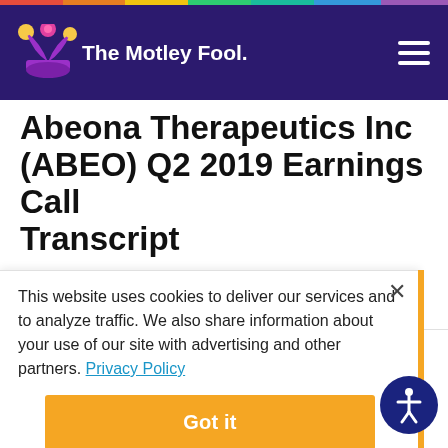The Motley Fool
Abeona Therapeutics Inc (ABEO) Q2 2019 Earnings Call Transcript
By Motley Fool Transcribers - Updated Oct 7, 2019 at 2:13PM
This website uses cookies to deliver our services and to analyze traffic. We also share information about your use of our site with advertising and other partners. Privacy Policy
Got it
Cookie Settings